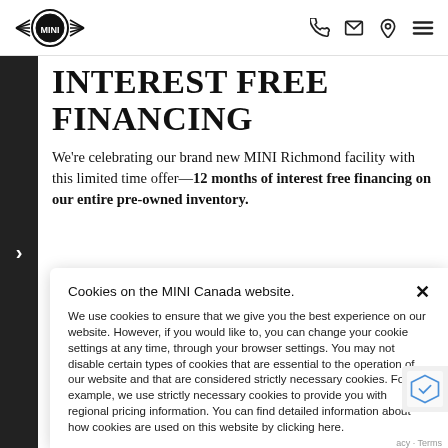MINI logo and navigation icons (phone, email, location, menu)
INTEREST FREE FINANCING
We're celebrating our brand new MINI Richmond facility with this limited time offer—12 months of interest free financing on our entire pre-owned inventory.
Cookies on the MINI Canada website.
We use cookies to ensure that we give you the best experience on our website. However, if you would like to, you can change your cookie settings at any time, through your browser settings. You may not disable certain types of cookies that are essential to the operation of our website and that are considered strictly necessary cookies. For example, we use strictly necessary cookies to provide you with regional pricing information. You can find detailed information about how cookies are used on this website by clicking here.